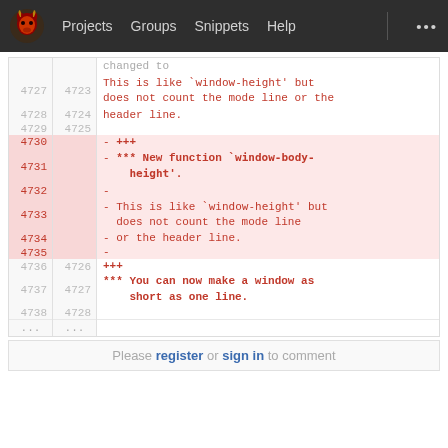Projects  Groups  Snippets  Help  ...
| old# | new# | code |
| --- | --- | --- |
|  |  | changed to |
| 4727 | 4723 | This is like `window-height' but does not count the mode line or the |
| 4728 | 4724 | header line. |
| 4729 | 4725 |  |
| 4730 |  | - +++ |
| 4731 |  | - *** New function `window-body-height'. |
| 4732 |  | -  |
| 4733 |  | - This is like `window-height' but does not count the mode line |
| 4734 |  | - or the header line. |
| 4735 |  | -  |
| 4736 | 4726 | +++  |
| 4737 | 4727 | *** You can now make a window as short as one line. |
| 4738 | 4728 |  |
| ... | ... |  |
Please register or sign in to comment